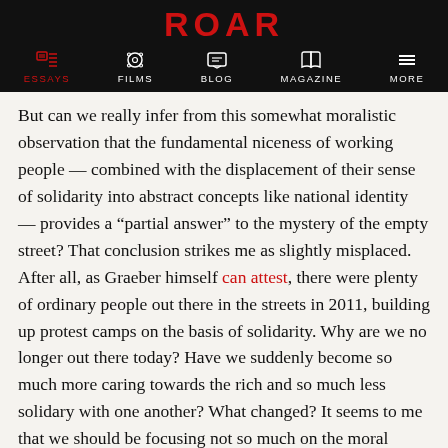ROAR | ESSAYS | FILMS | BLOG | MAGAZINE | MORE
But can we really infer from this somewhat moralistic observation that the fundamental niceness of working people — combined with the displacement of their sense of solidarity into abstract concepts like national identity — provides a “partial answer” to the mystery of the empty street? That conclusion strikes me as slightly misplaced. After all, as Graeber himself can attest, there were plenty of ordinary people out there in the streets in 2011, building up protest camps on the basis of solidarity. Why are we no longer out there today? Have we suddenly become so much more caring towards the rich and so much less solidary with one another? What changed? It seems to me that we should be focusing not so much on the moral virtues of workers but rather on the social causes of the ephemeral and ineffective nature of contemporary protest per se.